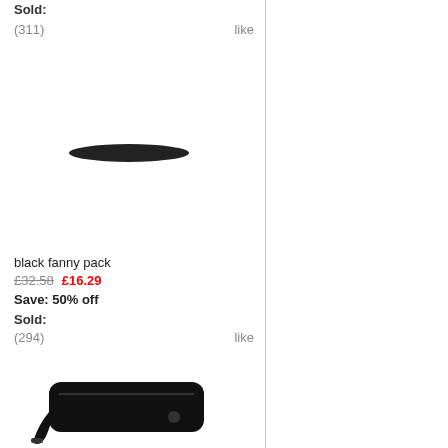Sold:
(311)   like
[Figure (photo): Top-down view of a black fanny pack, showing only the top edge/strap, mostly cropped]
black fanny pack
£32.58  £16.29
Save: 50% off
Sold:
(294)   like
[Figure (photo): Black Nike fanny pack / waist bag shown from the front, with strap visible]